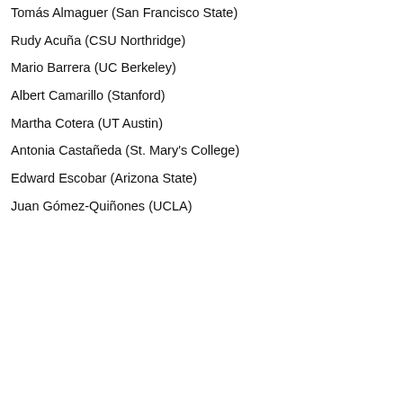Tomás Almaguer (San Francisco State)
Rudy Acuña (CSU Northridge)
Mario Barrera (UC Berkeley)
Albert Camarillo (Stanford)
Martha Cotera (UT Austin)
Antonia Castañeda (St. Mary's College)
Edward Escobar (Arizona State)
Juan Gómez-Quiñones (UCLA)